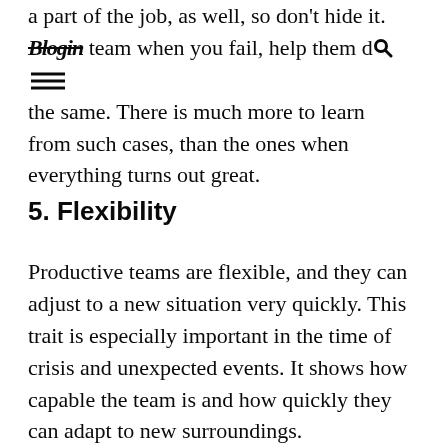a part of the job, as well, so don't hide it. [Blogin] team when you fail, help them do the same. There is much more to learn from such cases, than the ones when everything turns out great.
5. Flexibility
Productive teams are flexible, and they can adjust to a new situation very quickly. This trait is especially important in the time of crisis and unexpected events. It shows how capable the team is and how quickly they can adapt to new surroundings.